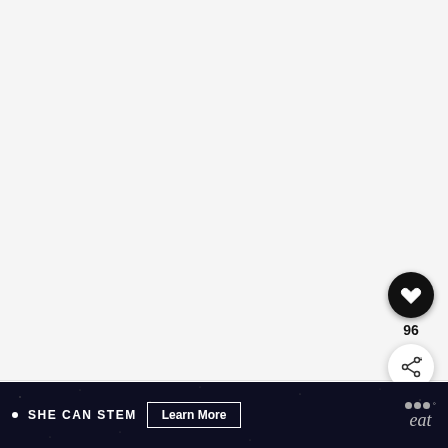[Figure (photo): White/light gray image area (recipe photo, content not visible)]
[Figure (illustration): Heart/like button (dark circle with heart icon) with count 96 below, and share button (white circle with share icon) below that]
[Figure (illustration): What's Next card with food thumbnail and text: WHAT'S NEXT → Authentic Bolognese...]
Recipe variations:
[Figure (infographic): Bottom dark banner: SHE CAN STEM | Learn More button | eat logo with dots and degree symbol]